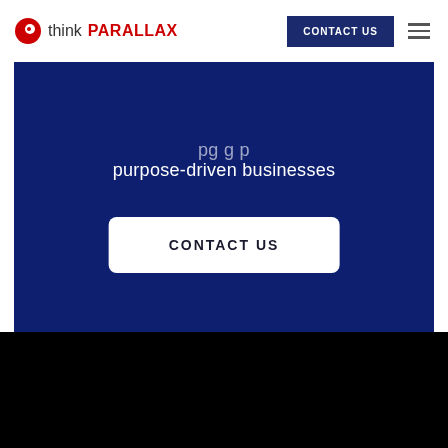[Figure (logo): thinkPARALLAX logo with red circle icon and text in header]
CONTACT US
purpose-driven businesses
CONTACT US
[Figure (logo): thinkPARALLAX white logo on black background in footer]
Company